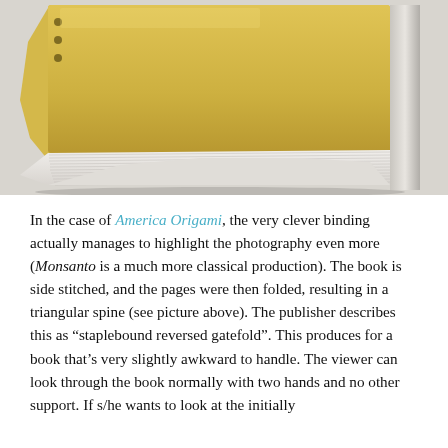[Figure (photo): Close-up photograph of a book with a yellow cover viewed from the side, showing its triangular spine created by the staplebound reversed gatefold binding technique. The book rests on a light grey/white surface. The spine shows white pages folded to create a triangular cross-section.]
In the case of America Origami, the very clever binding actually manages to highlight the photography even more (Monsanto is a much more classical production). The book is side stitched, and the pages were then folded, resulting in a triangular spine (see picture above). The publisher describes this as “staplebound reversed gatefold”. This produces for a book that’s very slightly awkward to handle. The viewer can look through the book normally with two hands and no other support. If s/he wants to look at the initially